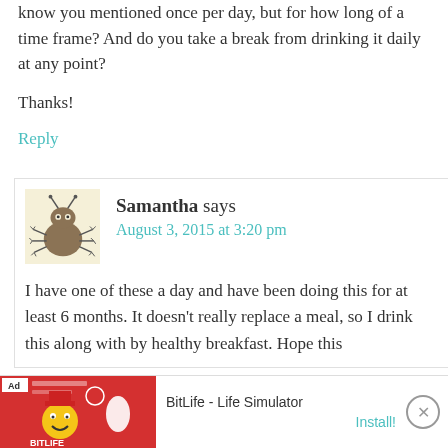know you mentioned once per day, but for how long of a time frame? And do you take a break from drinking it daily at any point?
Thanks!
Reply
Samantha says
August 3, 2015 at 3:20 pm
I have one of these a day and have been doing this for at least 6 months. It doesn't really replace a meal, so I drink this along with by healthy breakfast. Hope this
[Figure (infographic): Ad banner for BitLife - Life Simulator showing game characters and Install! button]